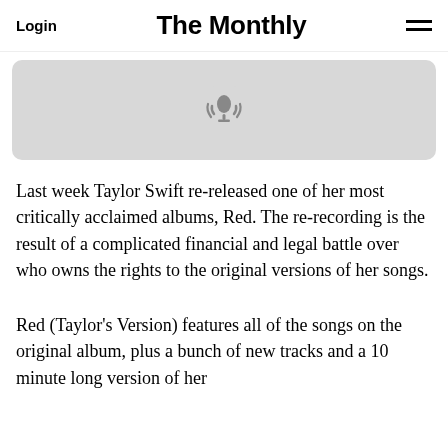Login | The Monthly | ≡
[Figure (illustration): Podcast icon (microphone with signal waves) centered on a light gray rounded rectangle background]
Last week Taylor Swift re-released one of her most critically acclaimed albums, Red. The re-recording is the result of a complicated financial and legal battle over who owns the rights to the original versions of her songs.
Red (Taylor's Version) features all of the songs on the original album, plus a bunch of new tracks and a 10 minute long version of her